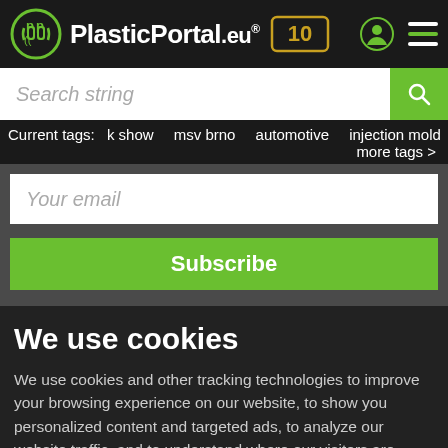PlasticPortal.eu® 10
Search string
Current tags: k show   msv brno   automotive   injection molding machines   p   more tags >
Your email
Subscribe
We use cookies
We use cookies and other tracking technologies to improve your browsing experience on our website, to show you personalized content and targeted ads, to analyze our website traffic, and to understand where our visitors are coming from.
I agree